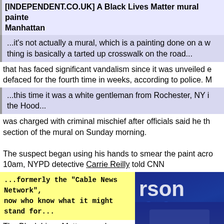[INDEPENDENT.CO.UK] A Black Lives Matter mural painted Manhattan
...it's not actually a mural, which is a painting done on a w thing is basically a tarted up crosswalk on the road...
that has faced significant vandalism since it was unveiled e defaced for the fourth time in weeks, according to police. M
...this time it was a white gentleman from Rochester, NY i the Hood...
was charged with criminal mischief after officials said he th section of the mural on Sunday morning.
The suspect began using his hands to smear the paint acro 10am, NYPD detective Carrie Reilly told CNN
...formerly the “Cable News Network”, now who know what it might stand for...
The Black Lives Matter mural — a project Mayor Comrade Bill de Blasio
...cryptocommie mayor of New York and for some reason a Dem candidate for president in 2020. Corrupt and incompetent, his qualifications for office seem to consist of being married to a black woman, with whom he honeymooned in Cuba. He has a preppy-
[Figure (screenshot): CNN news broadcast screenshot showing anchor at desk, breaking news chyron reading 'BREAKING NEWS' and 'ORGIA'S HIGH-S', with '36' graphic and 'rson' text visible]